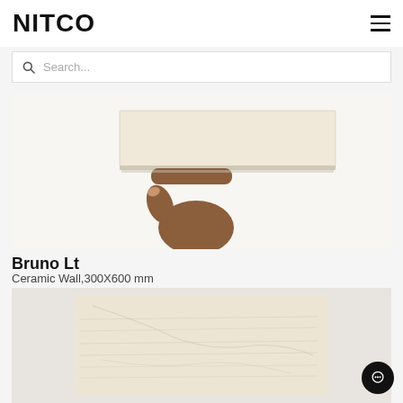NITCO
[Figure (screenshot): Search bar with magnifying glass icon and placeholder text 'Search...']
[Figure (photo): A hand holding a light beige/cream colored ceramic wall tile horizontally against a white background]
Bruno Lt
Ceramic Wall,300X600 mm
[Figure (photo): Close-up of the Bruno Lt ceramic wall tile surface showing a light beige/cream stone texture pattern]